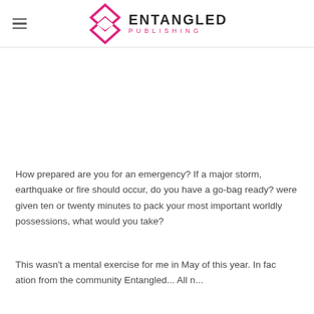ENTANGLED PUBLISHING
How prepared are you for an emergency? If a major storm, earthquake or fire should occur, do you have a go-bag ready? were given ten or twenty minutes to pack your most important worldly possessions, what would you take?
This wasn't a mental exercise for me in May of this year. In fac ation from the community Entangled... All n...